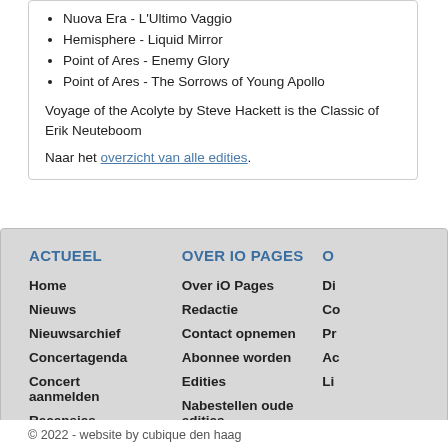Nuova Era - L'Ultimo Vaggio
Hemisphere - Liquid Mirror
Point of Ares - Enemy Glory
Point of Ares - The Sorrows of Young Apollo
Voyage of the Acolyte by Steve Hackett is the Classic of Erik Neuteboom
Naar het overzicht van alle edities.
ACTUEEL
OVER IO PAGES
Home
Nieuws
Nieuwsarchief
Concertagenda
Concert aanmelden
Recensies
Nieuwsbrief
Acties
Over iO Pages
Redactie
Contact opnemen
Abonnee worden
Edities
Nabestellen oude edities
Download index
© 2022 - website by cubique den haag